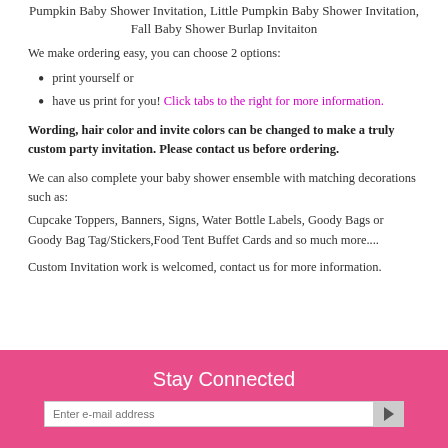Pumpkin Baby Shower Invitation, Little Pumpkin Baby Shower Invitation, Fall Baby Shower Burlap Invitaiton
We make ordering easy, you can choose 2 options:
print yourself or
have us print for you! Click tabs to the right for more information.
Wording, hair color and invite colors can be changed to make a truly custom party invitation. Please contact us before ordering.
We can also complete your baby shower ensemble with matching decorations such as:
Cupcake Toppers, Banners, Signs, Water Bottle Labels, Goody Bags or Goody Bag Tag/Stickers,Food Tent Buffet Cards and so much more....
Custom Invitation work is welcomed, contact us for more information.
Stay Connected
Enter e-mail address